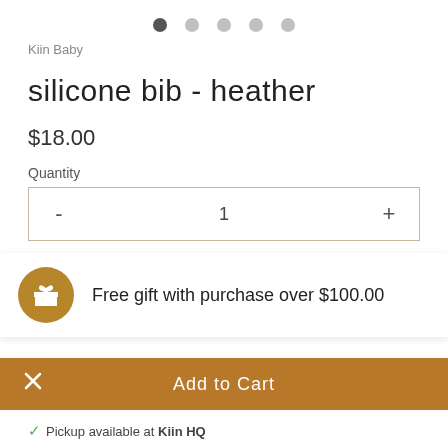[Figure (other): Five pagination dots at top, first dot active (dark), rest light gray]
Kiin Baby
silicone bib - heather
$18.00
Quantity
[Figure (other): Quantity selector box with minus button, value 1, plus button]
Free gift with purchase over $100.00
Add to Cart
Pickup available at Kiin HQ